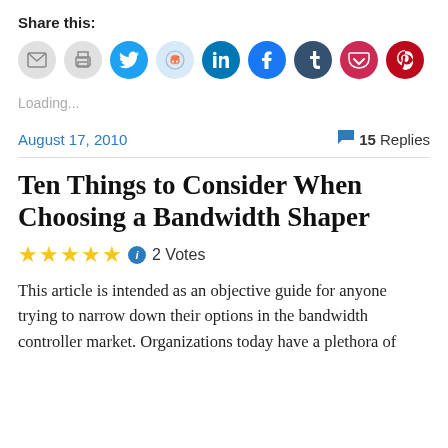Share this:
[Figure (infographic): Row of social sharing icon buttons: email, print, Twitter, Reddit, LinkedIn, Facebook, Tumblr, Pocket, Pinterest]
Loading...
August 17, 2010
15 Replies
Ten Things to Consider When Choosing a Bandwidth Shaper
★★★★★ ℹ 2 Votes
This article is intended as an objective guide for anyone trying to narrow down their options in the bandwidth controller market. Organizations today have a plethora of